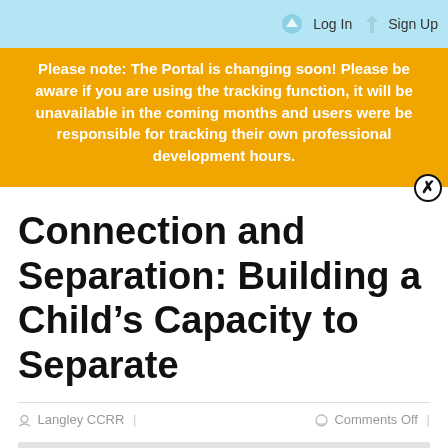Log In  Sign Up
Please note: The Portal is changing soon! Please be aware if you are using the tracking function, it will be unavailable in the coming months and users were be responsible for tracking their own professional development hours.
Connection and Separation: Building a Child’s Capacity to Separate
Langley CCRR | Comments Off |
[Figure (photo): Gray placeholder image block at the bottom of the page]